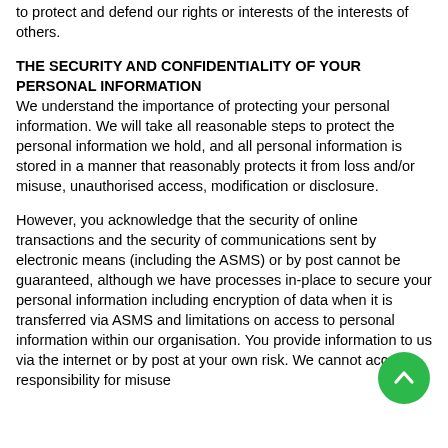to protect and defend our rights or interests of the interests of others.
THE SECURITY AND CONFIDENTIALITY OF YOUR PERSONAL INFORMATION
We understand the importance of protecting your personal information. We will take all reasonable steps to protect the personal information we hold, and all personal information is stored in a manner that reasonably protects it from loss and/or misuse, unauthorised access, modification or disclosure.
However, you acknowledge that the security of online transactions and the security of communications sent by electronic means (including the ASMS) or by post cannot be guaranteed, although we have processes in-place to secure your personal information including encryption of data when it is transferred via ASMS and limitations on access to personal information within our organisation. You provide information to us via the internet or by post at your own risk. We cannot accept responsibility for misuse